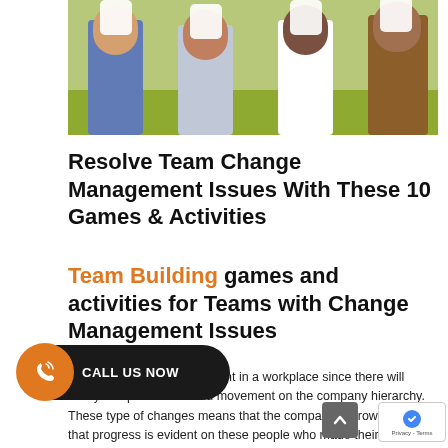[Figure (photo): Four people standing outdoors on grass, each holding a white sign or tablet in front of their faces. They are dressed casually. Background shows a green lawn.]
Resolve Team Change Management Issues With These 10 Games & Activities
Team Building games and activities for Teams with Change Management Issues
CALL US NOW
...ht side will always be constant in a workplace since there will always be promotions and movement on the company hierarchy. These type of changes means that the company is growing, and that progress is evident on these people who made their way to the top through continuous hard work that